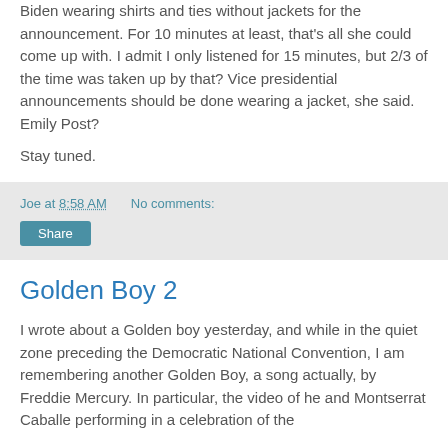Biden wearing shirts and ties without jackets for the announcement. For 10 minutes at least, that’s all she could come up with. I admit I only listened for 15 minutes, but 2/3 of the time was taken up by that? Vice presidential announcements should be done wearing a jacket, she said. Emily Post?
Stay tuned.
Joe at 8:58 AM    No comments:
Share
Golden Boy 2
I wrote about a Golden boy yesterday, and while in the quiet zone preceding the Democratic National Convention, I am remembering another Golden Boy, a song actually, by Freddie Mercury. In particular, the video of he and Montserrat Caballe performing in a celebration of the